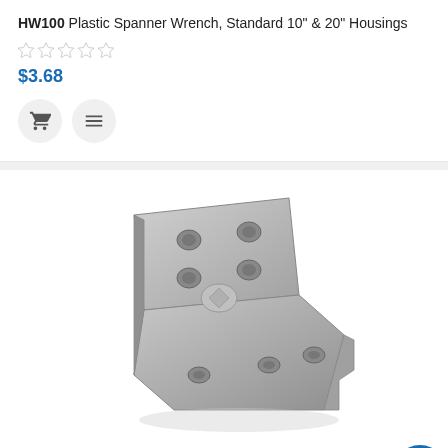HW100 Plastic Spanner Wrench, Standard 10" & 20" Housings
$3.68
[Figure (photo): Steel single bracket MB-10, L-shaped metal bracket with multiple mounting holes, silver/gray finish]
MB-10 Single Bracket, Steel (4200 & 7000)